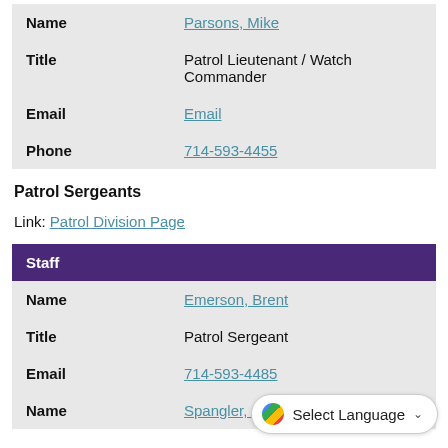| Field | Value |
| --- | --- |
| Name | Parsons, Mike |
| Title | Patrol Lieutenant / Watch Commander |
| Email | Email |
| Phone | 714-593-4455 |
Patrol Sergeants
Link: Patrol Division Page
| Staff |
| --- |
| Name | Emerson, Brent |
| Title | Patrol Sergeant |
| Email | 714-593-4485 |
| Name | Spangler, Antonius |